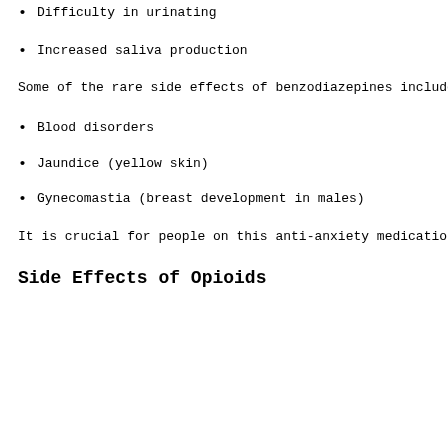Difficulty in urinating
Increased saliva production
Some of the rare side effects of benzodiazepines include
Blood disorders
Jaundice (yellow skin)
Gynecomastia (breast development in males)
It is crucial for people on this anti-anxiety medication
Side Effects of Opioids